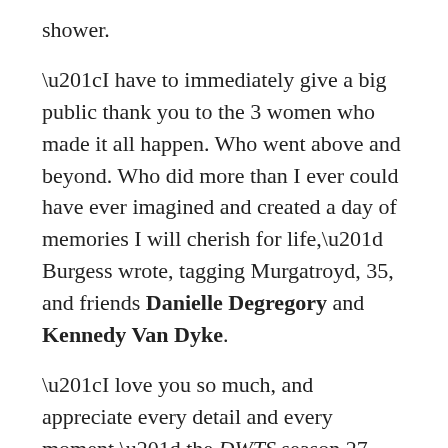shower.
“I have to immediately give a big public thank you to the 3 women who made it all happen. Who went above and beyond. Who did more than I ever could have ever imagined and created a day of memories I will cherish for life,” Burgess wrote, tagging Murgatroyd, 35, and friends Danielle Degregory and Kennedy Van Dyke.
“I love you so much, and appreciate every detail and every moment,” the DWTS season 27 winner penned in tribute to her pals. “Today was a dream.”
Burgess and Green — who made their relationship Instagram official in December 2020 — announced their pregnancy in February.